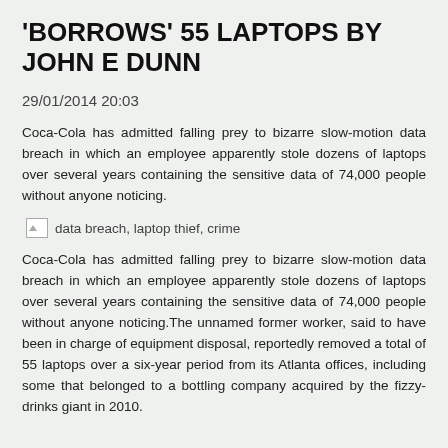'BORROWS' 55 LAPTOPS BY JOHN E DUNN
29/01/2014 20:03
Coca-Cola has admitted falling prey to bizarre slow-motion data breach in which an employee apparently stole dozens of laptops over several years containing the sensitive data of 74,000 people without anyone noticing.
[Figure (photo): Broken/placeholder image with alt text: data breach, laptop thief, crime]
Coca-Cola has admitted falling prey to bizarre slow-motion data breach in which an employee apparently stole dozens of laptops over several years containing the sensitive data of 74,000 people without anyone noticing.The unnamed former worker, said to have been in charge of equipment disposal, reportedly removed a total of 55 laptops over a six-year period from its Atlanta offices, including some that belonged to a bottling company acquired by the fizzy-drinks giant in 2010.